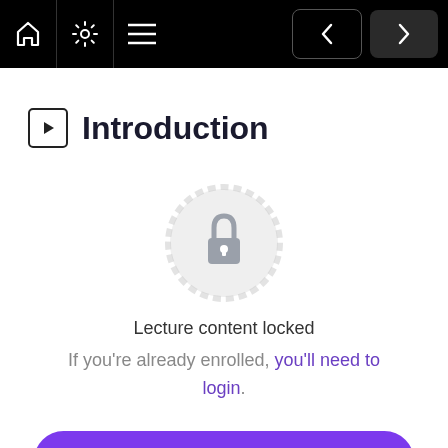Navigation bar with home, settings, menu icons and prev/next buttons
Introduction
[Figure (illustration): Locked content icon: a decorative circular badge with a padlock in the center, rendered in light gray]
Lecture content locked
If you're already enrolled, you'll need to login.
Enroll in Course to Unlock